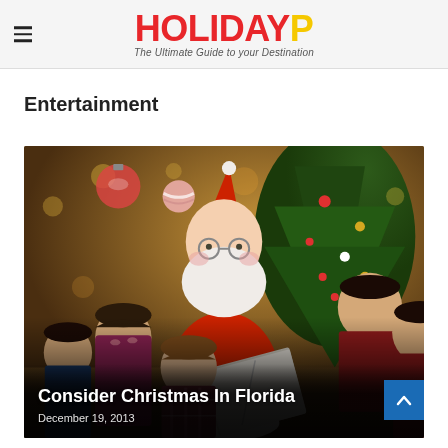HOLIDAYP — The Ultimate Guide to your Destination
Entertainment
[Figure (photo): Santa Claus sitting and reading a book to a group of children in Christmas outfits, with a decorated Christmas tree in the background]
Consider Christmas In Florida
December 19, 2013